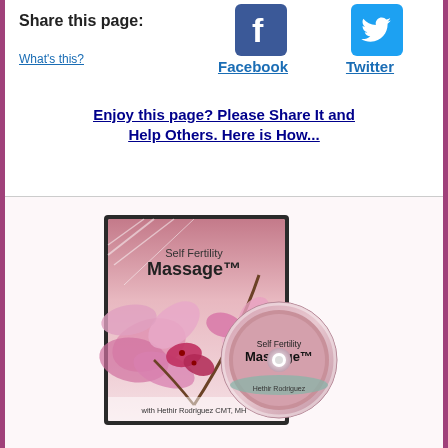Share this page:
[Figure (logo): Facebook logo icon (blue square with white F)]
[Figure (logo): Twitter logo icon (blue square with white bird)]
What's this?
Facebook
Twitter
Enjoy this page? Please Share It and Help Others. Here is How...
[Figure (photo): Self Fertility Massage DVD case and disc with orchid flowers, by Hethir Rodriguez CMT, MH]